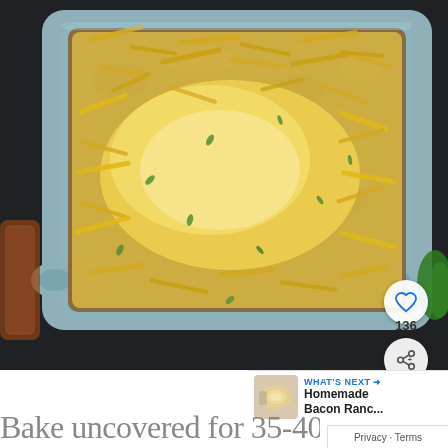[Figure (photo): A rectangular gray baking dish filled with a ground meat casserole topped with melted shredded cheddar cheese, viewed from above on a dark surface. A social share button (heart icon, count 136, and share icon) is visible on the right side of the image.]
[Figure (photo): Small thumbnail image of Homemade Bacon Ranch dish in the 'What's Next' panel.]
WHAT'S NEXT → Homemade Bacon Ranc...
Privacy · Terms
Bake uncovered for 35-40 min